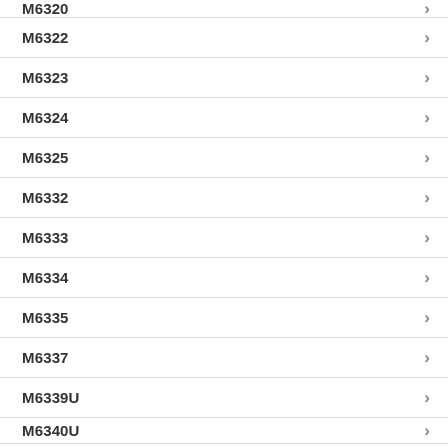M6320 (partial)
M6322
M6323
M6324
M6325
M6332
M6333
M6334
M6335
M6337
M6339U
M6340U (partial)